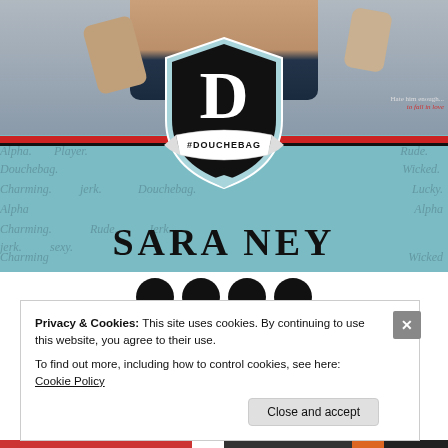[Figure (illustration): Book cover for '#Douchebag' by Sara Ney. Shows a shirtless male torso at the top, a large shield/crest logo in the center with a 'D' monogram and '#DOUCHEBAG' on a banner beneath it, word cloud background with terms like Alpha, Player, Charming, Rude, Douchebag, Wicked, Jerk, Lucky. Tagline reads 'Hate him enough... to fall in love'. Author name SARA NEY in large serif letters at bottom.]
Privacy & Cookies: This site uses cookies. By continuing to use this website, you agree to their use.
To find out more, including how to control cookies, see here: Cookie Policy